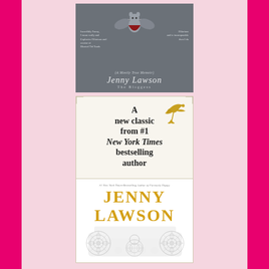[Figure (photo): Book cover of a Jenny Lawson book (Let's Pretend This Never Happened - A Mostly True Memoir) featuring a taxidermied mouse in a bat/vampire costume against a grey background, with 'Jenny Lawson The Bloggess' text]
[Figure (photo): Two book covers by Jenny Lawson: top half shows white/cream cover with text 'A new classic from #1 New York Times bestselling author' with a gold bird illustration; bottom half shows white cover with 'JENNY LAWSON' in gold text and mandala/circular illustrations, subtitled '#1 New York Times Bestselling Author of Furiously Happy']